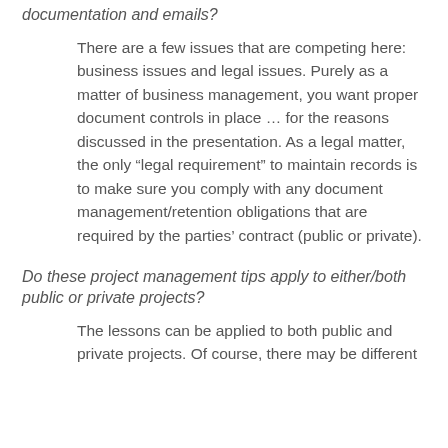documentation and emails?
There are a few issues that are competing here: business issues and legal issues. Purely as a matter of business management, you want proper document controls in place … for the reasons discussed in the presentation. As a legal matter, the only “legal requirement” to maintain records is to make sure you comply with any document management/retention obligations that are required by the parties’ contract (public or private).
Do these project management tips apply to either/both public or private projects?
The lessons can be applied to both public and private projects. Of course, there may be different